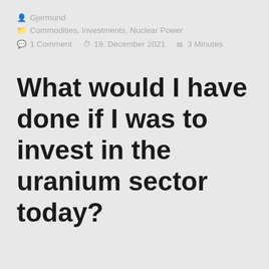Gjermund
Commodities, Investments, Nuclear Power
1 Comment   19. December 2021   3 Minutes
What would I have done if I was to invest in the uranium sector today?